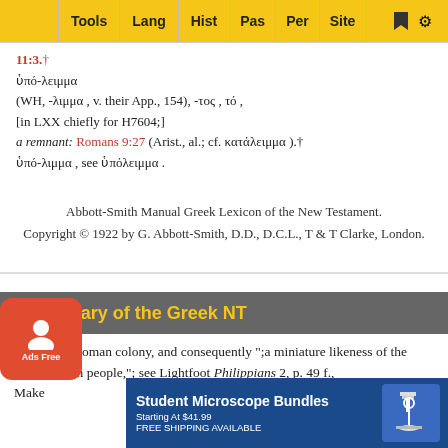Tools | Lang | Hist | Pas | Per | Site
11:3.†
ὑπό-λειμμα
(WH, -λιμμα, v. their App., 154), -τος, τό,
[in LXX chiefly for H7604;]
a remnant: Romans 9:27 (Arist., al.; cf. κατάλειμμα).†
ὑπό-λιμμα, see ὑπόλειμμα.
Abbott-Smith Manual Greek Lexicon of the New Testament.
Copyright © 1922 by G. Abbott-Smith, D.D., D.C.L., T & T Clarke, London.
Vocabulary of the Greek NT
Philippi, a Roman colony, and consequently ";a miniature likeness of the great Roman people,"; see Lightfoot Philippians 2, p. 49 f.,
Make
[Figure (other): Ads Free badge with person icon]
[Figure (other): Student Microscope Bundles advertisement banner. Starting At $41.99. FREE SHIPPING AVAILABLE.]